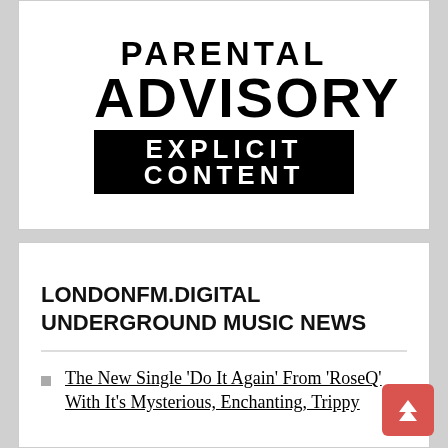[Figure (logo): Parental Advisory Explicit Content label — black and white logo with 'PARENTAL' and 'ADVISORY' in large bold text, and 'EXPLICIT CONTENT' in white text on a black rectangle below.]
LONDONFM.DIGITAL UNDERGROUND MUSIC NEWS
The New Single 'Do It Again' From 'RoseQ' With It's Mysterious, Enchanting, Trippy